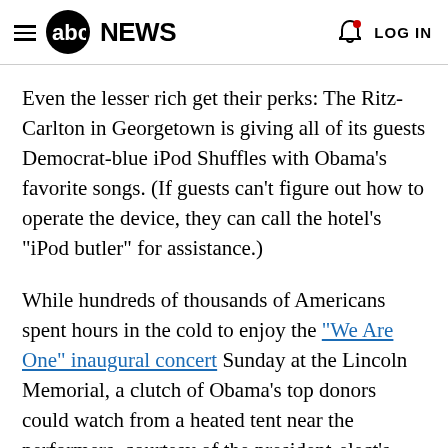abc NEWS  LOG IN
Even the lesser rich get their perks: The Ritz-Carlton in Georgetown is giving all of its guests Democrat-blue iPod Shuffles with Obama's favorite songs. (If guests can't figure out how to operate the device, they can call the hotel's "iPod butler" for assistance.)
While hundreds of thousands of Americans spent hours in the cold to enjoy the "We Are One" inaugural concert Sunday at the Lincoln Memorial, a clutch of Obama's top donors could watch from a heated tent near the performers, courtesy of the president-elect's Inaugural Committee